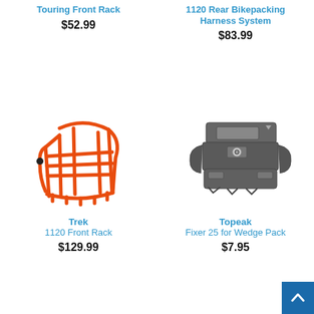Touring Front Rack
$52.99
1120 Rear Bikepacking Harness System
$83.99
[Figure (photo): Orange Trek 1120 Front Rack bicycle rack with tubular frame structure]
Trek
1120 Front Rack
$129.99
[Figure (photo): Dark grey Topeak Fixer 25 for Wedge Pack, a small plastic mounting bracket/clip]
Topeak
Fixer 25 for Wedge Pack
$7.95